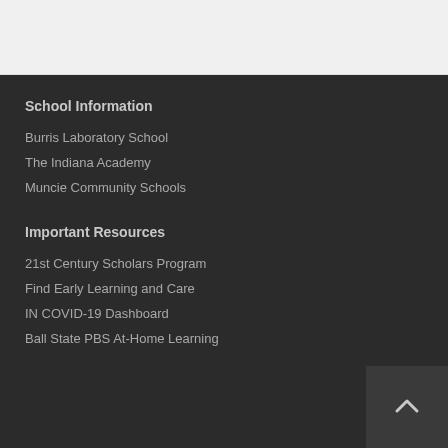School Information
Burris Laboratory School
The Indiana Academy
Muncie Community Schools
Important Resources
21st Century Scholars Program
Find Early Learning and Care
IN COVID-19 Dashboard
Ball State PBS At-Home Learning